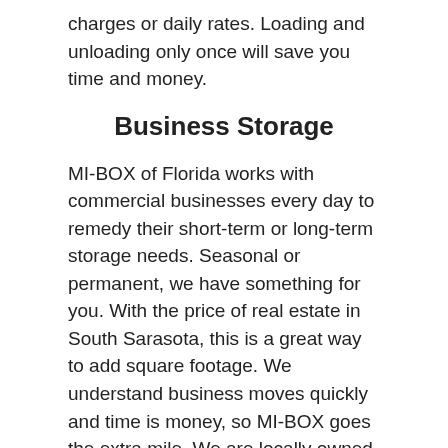charges or daily rates. Loading and unloading only once will save you time and money.
Business Storage
MI-BOX of Florida works with commercial businesses every day to remedy their short-term or long-term storage needs. Seasonal or permanent, we have something for you. With the price of real estate in South Sarasota, this is a great way to add square footage. We understand business moves quickly and time is money, so MI-BOX goes the extra mile. We are locally owned and operated, so we understand the importance of delivering fast, dependable service. You can count on MI-BOX for the best storage solutions for business storage in Florida.